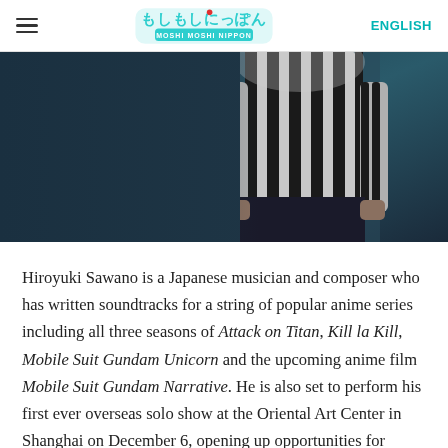≡  Moshi Moshi Nippon  ENGLISH
[Figure (photo): A person wearing a black and white vertical striped shirt, hands in pockets, photographed from chest to thigh against a dark teal/blue background.]
Hiroyuki Sawano is a Japanese musician and composer who has written soundtracks for a string of popular anime series including all three seasons of Attack on Titan, Kill la Kill, Mobile Suit Gundam Unicorn and the upcoming anime film Mobile Suit Gundam Narrative. He is also set to perform his first ever overseas solo show at the Oriental Art Center in Shanghai on December 6, opening up opportunities for future glo